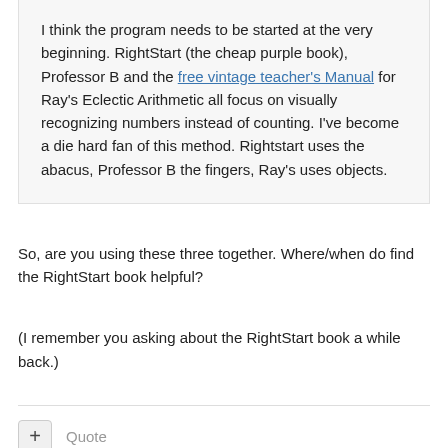I think the program needs to be started at the very beginning. RightStart (the cheap purple book), Professor B and the free vintage teacher's Manual for Ray's Eclectic Arithmetic all focus on visually recognizing numbers instead of counting. I've become a die hard fan of this method. Rightstart uses the abacus, Professor B the fingers, Ray's uses objects.
So, are you using these three together. Where/when do find the RightStart book helpful?
(I remember you asking about the RightStart book a while back.)